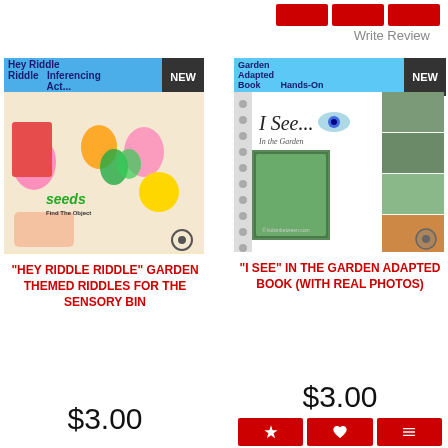Write Review
[Figure (photo): Hey Riddle Riddle Inferencing Activity garden-themed product image with seeds, flowers, butterfly and sun cutouts. NEW badge in corner.]
[Figure (photo): Garden Adapted Book Hands-On product image showing I See In the Garden adapted book with real photos. NEW badge in corner.]
"HEY RIDDLE RIDDLE" GARDEN THEMED RIDDLES FOR THE SENSORY BIN
"I SEE" IN THE GARDEN ADAPTED BOOK (WITH REAL PHOTOS)
$3.00
$3.00